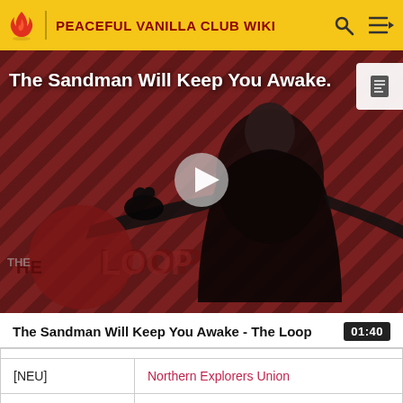PEACEFUL VANILLA CLUB WIKI
[Figure (screenshot): Video thumbnail for 'The Sandman Will Keep You Awake - The Loop' showing a figure in black against a diagonal striped red/dark background with 'THE LOOP' logo and a play button in the center.]
The Sandman Will Keep You Awake - The Loop  01:40
| [NEU] | Northern Explorers Union |
| [REU] | Red Eye Union |